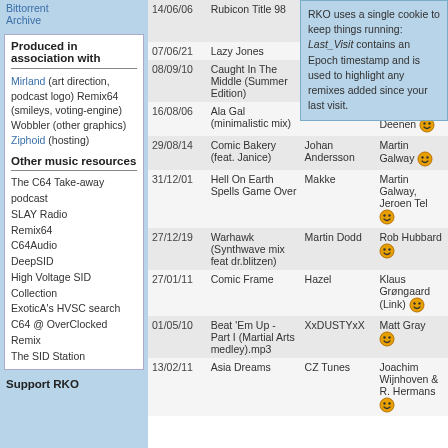Bittorrent Archive
Produced in association with
Mirland (art direction, podcast logo) Remix64 (smileys, voting-engine) Wobbler (other graphics) Ziphoid (hosting)
Other music resources
The C64 Take-away podcast
SLAY Radio
Remix64
C64Audio
DeepSID
High Voltage SID Collection
ExoticA's HVSC search
C64 @ OverClocked Remix
The SID Station
Support RKO
RKO uses a single cookie to keep things running: Last_Visit contains an Epoch timestamp and is used to highlight any remixes added since your last visit.
| Date | Title | Artist | Original composer |
| --- | --- | --- | --- |
| 14/06/06 | Rubicon Title 98 | moog (Sebastian Bachliński) |  |
| 07/06/21 | Lazy Jones | Makke |  |
| 08/09/10 | Caught In The Middle (Summer Edition) | Dees |  |
| 16/08/06 | Ala Gal (minimalistic mix) | Dafunk | Charles Deenen |
| 29/08/14 | Comic Bakery (feat. Janice) | Johan Andersson | Martin Galway |
| 31/12/01 | Hell On Earth Spells Game Over | Makke | Martin Galway, Jeroen Tel |
| 27/12/19 | Warhawk (Synthwave mix feat dr.blitzen) | Martin Dodd | Rob Hubbard |
| 27/01/11 | Comic Frame | Hazel | Klaus Grøngaard (Link) |
| 01/05/10 | Beat 'Em Up - Part I (Martial Arts medley).mp3 | XxDUSTYxX | Matt Gray |
| 13/02/11 | Asia Dreams | CZ Tunes | Joachim Wijnhoven & R. Hermans |